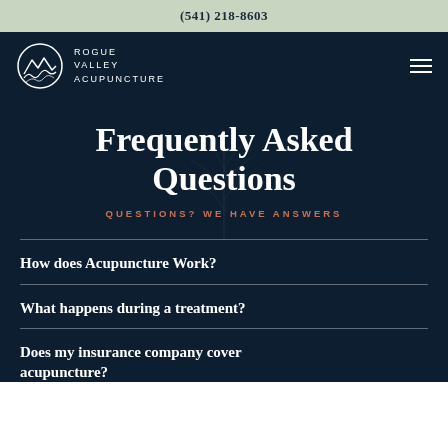(541) 218-8603
[Figure (logo): Rogue Valley Acupuncture logo: mountain/wave circular icon with text ROGUE VALLEY ACUPUNCTURE]
Frequently Asked Questions
QUESTIONS? WE HAVE ANSWERS
How does Acupuncture Work?
What happens during a treatment?
Does my insurance company cover acupuncture?